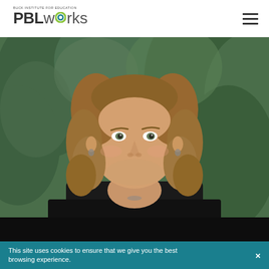[Figure (logo): PBLworks logo with 'BUCK INSTITUTE FOR EDUCATION' text above, bold PBL in dark and 'works' in lighter weight with a circular O element in teal/green]
[Figure (photo): Portrait photo of a woman with curly blonde/brown hair, smiling, wearing a black top, standing outdoors in front of green pine trees]
This site uses cookies to ensure that we give you the best browsing experience.